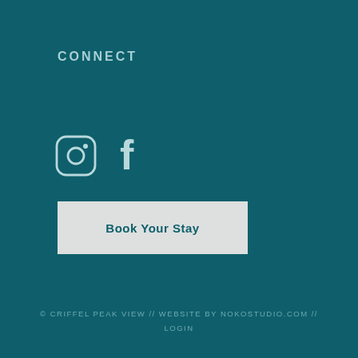CONNECT
[Figure (illustration): Instagram and Facebook social media icons in teal/white color scheme]
Book Your Stay
© CRIFFEL PEAK VIEW // WEBSITE BY NOKOSTUDIO.COM // LOGIN